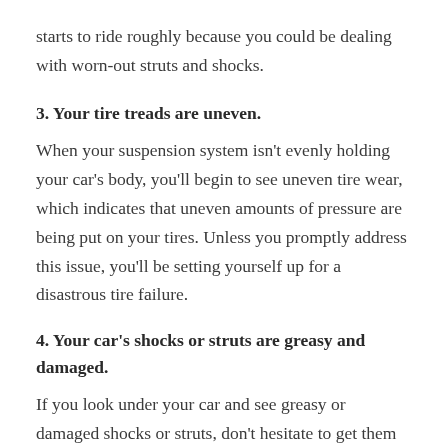starts to ride roughly because you could be dealing with worn-out struts and shocks.
3. Your tire treads are uneven.
When your suspension system isn’t evenly holding your car’s body, you’ll begin to see uneven tire wear, which indicates that uneven amounts of pressure are being put on your tires. Unless you promptly address this issue, you’ll be setting yourself up for a disastrous tire failure.
4. Your car’s shocks or struts are greasy and damaged.
If you look under your car and see greasy or damaged shocks or struts, don’t hesitate to get them replaced as quickly as you can. When these begin to leak fluid, you can’t expect them to work properly.